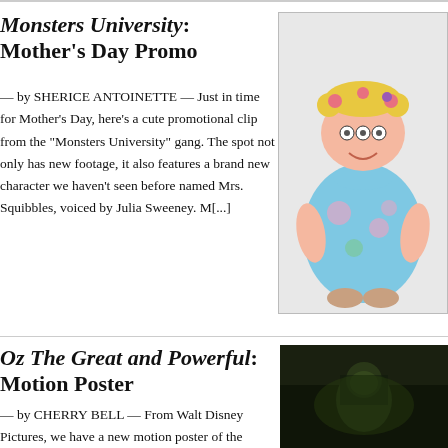Monsters University: Mother's Day Promo
[Figure (photo): Animated character Mrs. Squibbles from Monsters University — a short, round, pink monster in a blue floral quilted robe with yellow curly hair in rollers and four eyes]
— by SHERICE ANTOINETTE — Just in time for Mother's Day, here's a cute promotional clip from the "Monsters University" gang. The spot not only has new footage, it also features a brand new character we haven't seen before named Mrs. Squibbles, voiced by Julia Sweeney. M[...]
Oz The Great and Powerful: Motion Poster
— by CHERRY BELL — From Walt Disney Pictures, we have a new motion poster of the Wicked Witch with a tumph in the darkness and. It's all here at the top of...
[Figure (photo): Dark, moody image from Oz The Great and Powerful showing a silhouetted figure with green atmospheric lighting]